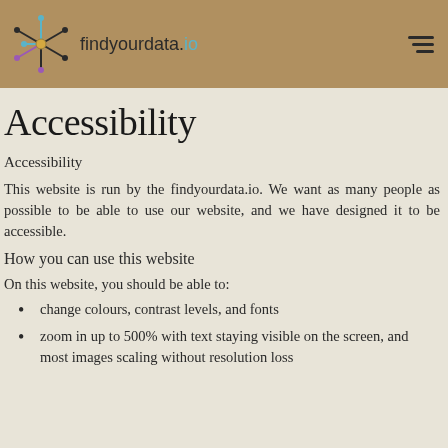findyourdata.io
Accessibility
Accessibility
This website is run by the findyourdata.io. We want as many people as possible to be able to use our website, and we have designed it to be accessible.
How you can use this website
On this website, you should be able to:
change colours, contrast levels, and fonts
zoom in up to 500% with text staying visible on the screen, and most images scaling without resolution loss